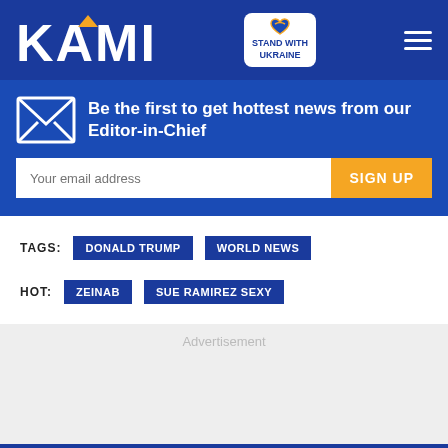KAMI
Be the first to get hottest news from our Editor-in-Chief
Your email address
SIGN UP
TAGS: DONALD TRUMP WORLD NEWS
HOT: ZEINAB SUE RAMIREZ SEXY
Advertisement